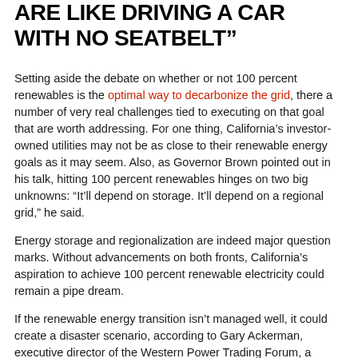ARE LIKE DRIVING A CAR WITH NO SEATBELT”
Setting aside the debate on whether or not 100 percent renewables is the optimal way to decarbonize the grid, there a number of very real challenges tied to executing on that goal that are worth addressing. For one thing, California’s investor-owned utilities may not be as close to their renewable energy goals as it may seem. Also, as Governor Brown pointed out in his talk, hitting 100 percent renewables hinges on two big unknowns: “It’ll depend on storage. It’ll depend on a regional grid,” he said.
Energy storage and regionalization are indeed major question marks. Without advancements on both fronts, California’s aspiration to achieve 100 percent renewable electricity could remain a pipe dream.
If the renewable energy transition isn’t managed well, it could create a disaster scenario, according to Gary Ackerman, executive director of the Western Power Trading Forum, a broad-based membership organization dedicated to encouraging competition in Western states’ electric markets.